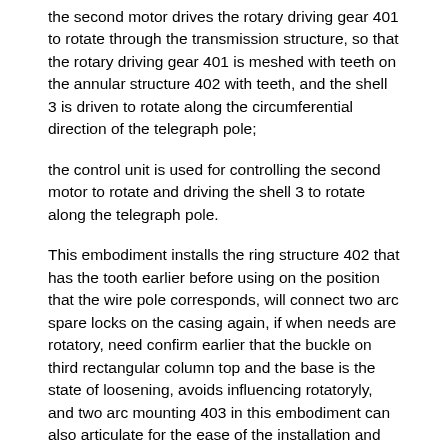the second motor drives the rotary driving gear 401 to rotate through the transmission structure, so that the rotary driving gear 401 is meshed with teeth on the annular structure 402 with teeth, and the shell 3 is driven to rotate along the circumferential direction of the telegraph pole;
the control unit is used for controlling the second motor to rotate and driving the shell 3 to rotate along the telegraph pole.
This embodiment installs the ring structure 402 that has the tooth earlier before using on the position that the wire pole corresponds, will connect two arc spare locks on the casing again, if when needs are rotatory, need confirm earlier that the buckle on third rectangular column top and the base is the state of loosening, avoids influencing rotatoryly, and two arc mounting 403 in this embodiment can also articulate for the ease of the installation and also can adopt bolted connection.
Further, in this embodiment, two arc-shaped fixing members 403 are provided with inward edges, the annular structure 402 with teeth is two semicircular structures, the upper ends and the lower ends of the two semicircular